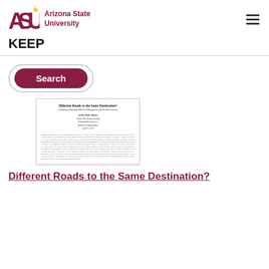[Figure (logo): Arizona State University logo with ASU letters in maroon and sun emblem, followed by 'Arizona State University' text in maroon]
KEEP
[Figure (screenshot): Search button with dark red/maroon rounded pill shape containing white text 'Search']
[Figure (screenshot): Thumbnail preview of academic paper titled 'Different Roads to the Same Destination? Comparing Sustainable Materials Management and Circular Economy' with author block and abstract text]
Different Roads to the Same Destination?